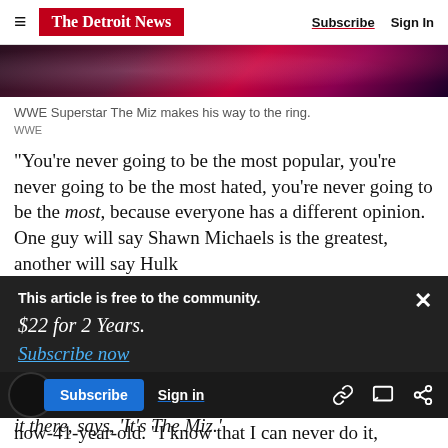The Detroit News | Subscribe | Sign In
[Figure (photo): Cropped photo strip showing WWE Superstar The Miz making his way to the ring, with pink/red stage lights in background.]
WWE Superstar The Miz makes his way to the ring.
WWE
"You're never going to be the most popular, you're never going to be the most hated, you're never going to be the most, because everyone has a different opinion. One guy will say Shawn Michaels is the greatest, another will say Hulk
This article is free to the community.
$22 for 2 Years.
Subscribe now
it there, says, 'It's The Miz.'
now-41-year-old. "I know that I can never do it,